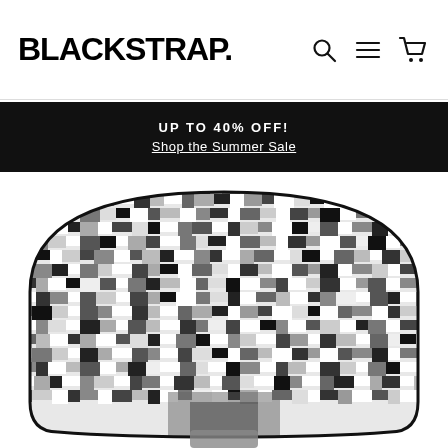BLACKSTRAP.
UP TO 40% OFF!
Shop the Summer Sale
[Figure (photo): Close-up product photo of ski/snowboard goggles with digital camouflage pattern in black, white, and grey, partially cropped showing the top arch of the goggle frame with a nose bridge visible at the bottom center.]